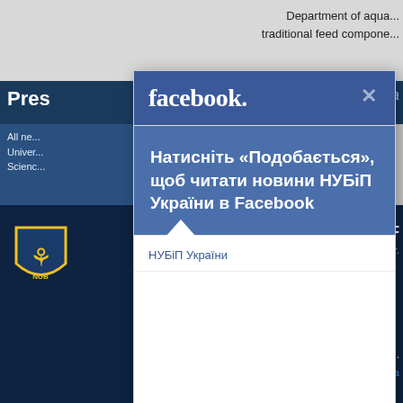Department of aqua... traditional feed compone...
Pres... na... All ne... Univer... Scienc...
[Figure (screenshot): Facebook like-page popup modal overlay on a university (НУБіП України) website. The modal has a blue Facebook header with logo and close X button, a darker blue body with Ukrainian prompt text 'Натисніть «Подобається», щоб читати новини НУБіП України в Facebook', a white speech-bubble area with page name 'НУБіП України', a white content area, and a gray footer with dashed-underline link 'Я вже підписаний на НУБіП у Facebook'. The background shows the NUBiP (National University of Life and Environmental Sciences of Ukraine) website with dark navy header, press section, logo, and contact info.]
Натисніть «Подобається», щоб читати новини НУБіП України в Facebook
НУБіП України
Я вже підписаний на НУБіП у Facebook
+380 44 258-42-63;
vstup@nubip.edu.ua